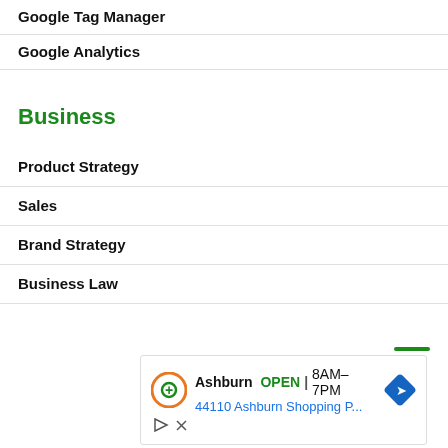Google Tag Manager
Google Analytics
Business
Product Strategy
Sales
Brand Strategy
Business Law
[Figure (screenshot): Advertisement showing Ashburn location, OPEN 8AM-7PM, 44110 Ashburn Shopping P... with navigation icon, play button and close button]